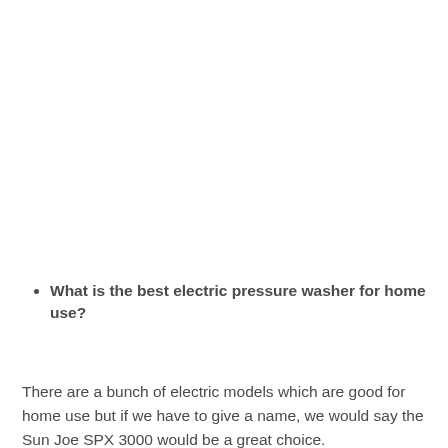What is the best electric pressure washer for home use?
There are a bunch of electric models which are good for home use but if we have to give a name, we would say the Sun Joe SPX 3000 would be a great choice.